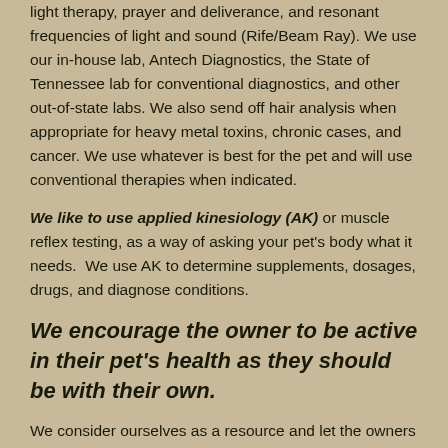light therapy, prayer and deliverance, and resonant frequencies of light and sound (Rife/Beam Ray). We use our in-house lab, Antech Diagnostics, the State of Tennessee lab for conventional diagnostics, and other out-of-state labs. We also send off hair analysis when appropriate for heavy metal toxins, chronic cases, and cancer. We use whatever is best for the pet and will use conventional therapies when indicated.
We like to use applied kinesiology (AK) or muscle reflex testing, as a way of asking your pet's body what it needs. We use AK to determine supplements, dosages, drugs, and diagnose conditions.
We encourage the owner to be active in their pet's health as they should be with their own.
We consider ourselves as a resource and let the owners make the final decision. It is their pet, as it is their body and the ultimate choice is theirs. To be a resource…